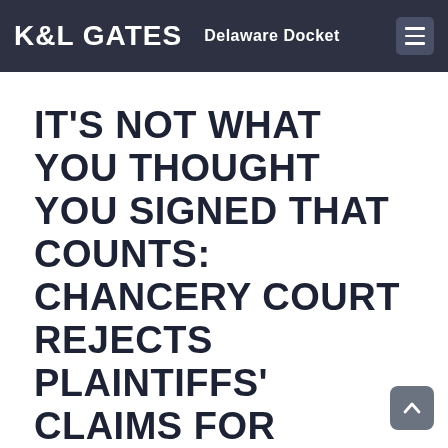K&L GATES  Delaware Docket
IT'S NOT WHAT YOU THOUGHT YOU SIGNED THAT COUNTS: CHANCERY COURT REJECTS PLAINTIFFS' CLAIMS FOR BREACH OF CONTRACT